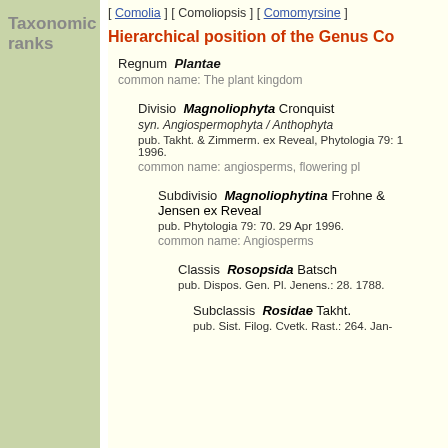Taxonomic ranks
[ Comolia ] [ Comoliopsis ] [ Comomyrsine ]
Hierarchical position of the Genus Co…
Regnum Plantae
common name: The plant kingdom
Divisio Magnoliophyta Cronquist
syn. Angiospermophyta / Anthophyta
pub. Takht. & Zimmerm. ex Reveal, Phytologia 79: 1996.
common name: angiosperms, flowering pl…
Subdivisio Magnoliophytina Frohne & Jensen ex Reveal
pub. Phytologia 79: 70. 29 Apr 1996.
common name: Angiosperms
Classis Rosopsida Batsch
pub. Dispos. Gen. Pl. Jenens.: 28. 1788.
Subclassis Rosidae Takht.
pub. Sist. Filog. Cvetk. Rast.: 264. Jan-…